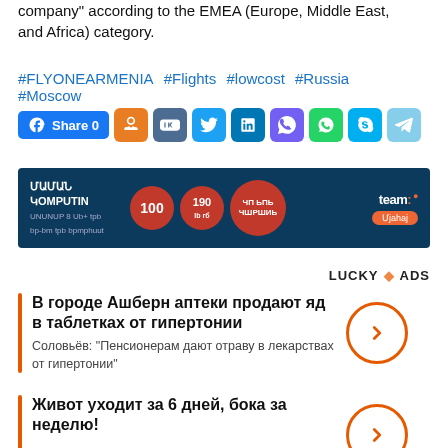company" according to the EMEA (Europe, Middle East, and Africa) category.
#FLYONEARMENIA #Flights #lowcost #Russia #Moscow
[Figure (infographic): Social sharing bar with Facebook Share 0 button and icons for Odnoklassniki, VKontakte, Twitter, LinkedIn, Viber, WhatsApp, Skype, Telegram]
[Figure (infographic): Advertisement banner with dark blue background showing Armenian text, colored circles with numbers 100 and 190, and Team+ logo with Mjahaj button]
LUCKY ADS
В городе Ашберн аптеки продают яд в таблетках от гипертонии
Соловьёв: "Пенсионерам дают отраву в лекарствах от гипертонии"
Живот уходит за 6 дней, бока за неделю!